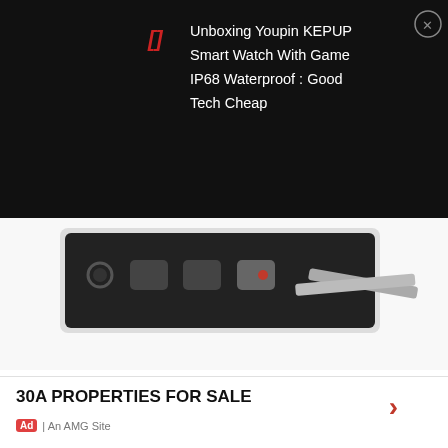[Figure (screenshot): Top black bar showing video overlay with red bracket icon and title 'Unboxing Youpin KEPUP Smart Watch With Game IP68 Waterproof : Good Tech Cheap' with close button]
[Figure (photo): Partial photo of a black car key fob remote and metal keys on white background]
To help streamline all that stuff jangling around in your pocket, the KeySmart Flex (2 Pack) ($10.39 after discount, originally $20) holds up to eight keys in an easily accessible, ultra-durable polycarbonate sleeve that slides into your pocket perfectly.
[Figure (screenshot): Advertisement banner for '30A PROPERTIES FOR SALE' with Ad badge and 'An AMG Site' label and right arrow]